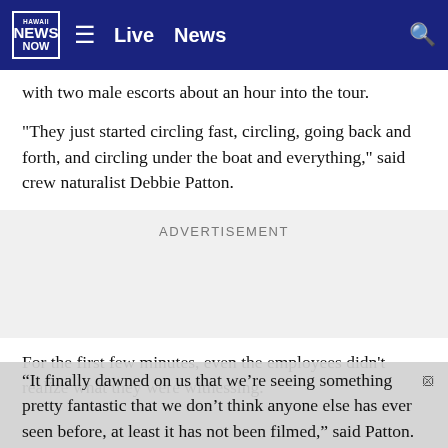Hawaii News Now — Live  News
with two male escorts about an hour into the tour.
"They just started circling fast, circling, going back and forth, and circling under the boat and everything," said crew naturalist Debbie Patton.
ADVERTISEMENT
For the first few minutes, even the employees didn't realize what they were witnessing.
“It finally dawned on us that we’re seeing something pretty fantastic that we don’t think anyone else has ever seen before, at least it has not been filmed,” said Patton.